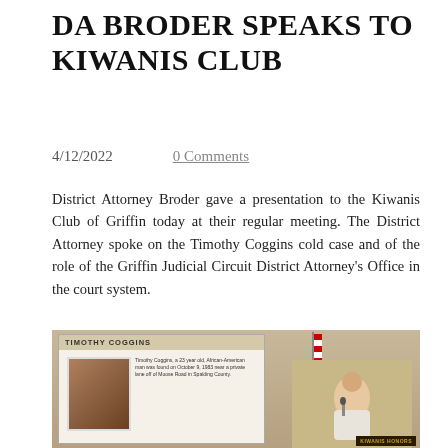DA BRODER SPEAKS TO KIWANIS CLUB
4/12/2022
0 Comments
District Attorney Broder gave a presentation to the Kiwanis Club of Griffin today at their regular meeting. The District Attorney spoke on the Timothy Coggins cold case and of the role of the Griffin Judicial Circuit District Attorney's Office in the court system.
[Figure (photo): Photo of DA Broder speaking at a Kiwanis Club meeting, with a projection screen behind her showing 'TIMOTHY COGGINS' with a photo and text about the case. An American flag stands to the right. A Kiwanis sign is visible in the foreground.]